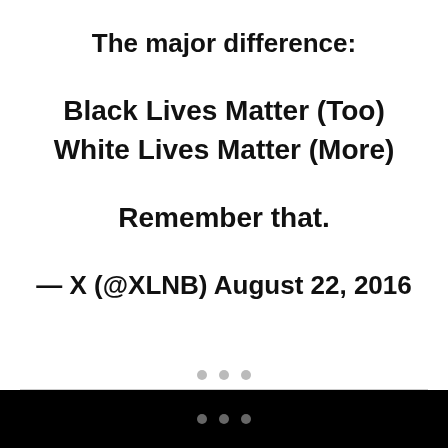The major difference:
Black Lives Matter (Too)
White Lives Matter (More)
Remember that.
— X (@XLNB) August 22, 2016